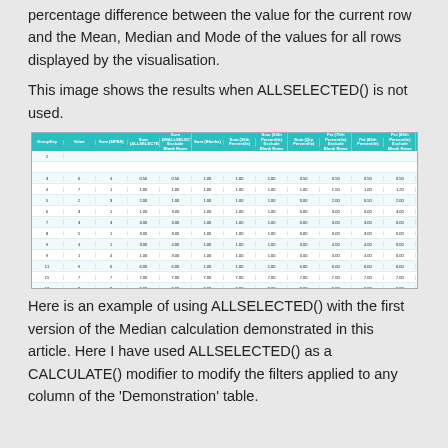percentage difference between the value for the current row and the Mean, Median and Mode of the values for all rows displayed by the visualisation.
This image shows the results when ALLSELECTED() is not used.
[Figure (table-as-image): A table showing data rows with columns for GroupKey, Value, Sum (MPAS), Sum (ALLSELECTED) with Exclude Blank Rows totals, Sum (Blanks), Sum (25th Percentile), Sum (50th Percentile) Exclude Blank Rows, Sum (Qty Percentile), and related columns. Footer row shows totals.]
Here is an example of using ALLSELECTED() with the first version of the Median calculation demonstrated in this article. Here I have used ALLSELECTED() as a CALCULATE() modifier to modify the filters applied to any column of the 'Demonstration' table.